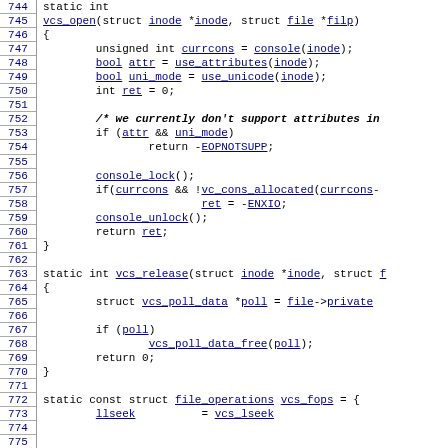[Figure (screenshot): Source code listing showing C function definitions for vcs_open, vcs_release, and the beginning of file_operations struct vcs_fops, with line numbers 744-773 on the left margin.]